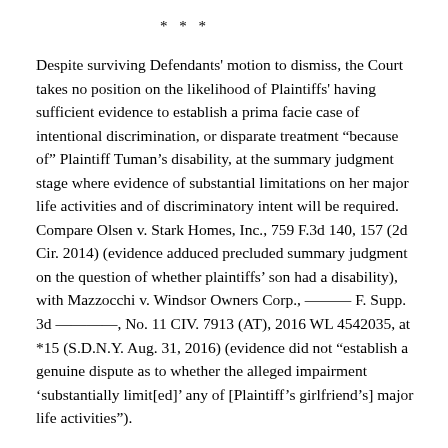* * *
Despite surviving Defendants' motion to dismiss, the Court takes no position on the likelihood of Plaintiffs' having sufficient evidence to establish a prima facie case of intentional discrimination, or disparate treatment “because of” Plaintiff Tuman’s disability, at the summary judgment stage where evidence of substantial limitations on her major life activities and of discriminatory intent will be required. Compare Olsen v. Stark Homes, Inc., 759 F.3d 140, 157 (2d Cir. 2014) (evidence adduced precluded summary judgment on the question of whether plaintiffs’ son had a disability), with Mazzocchi v. Windsor Owners Corp., ——— F. Supp. 3d ————, No. 11 CIV. 7913 (AT), 2016 WL 4542035, at *15 (S.D.N.Y. Aug. 31, 2016) (evidence did not “establish a genuine dispute as to whether the alleged impairment ‘substantially limit[ed]’ any of [Plaintiff’s girlfriend’s] major life activities”).